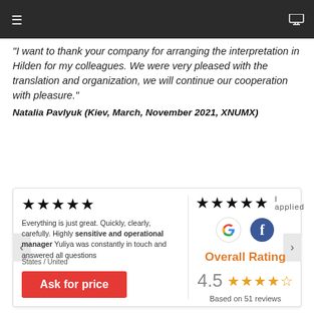Navigation bar with hamburger menu and monitor icon
"I want to thank your company for arranging the interpretation in Hilden for my colleagues. We were very pleased with the translation and organization, we will continue our cooperation with pleasure."
Natalia Pavlyuk (Kiev, March, November 2021, XNUMX)
[Figure (screenshot): Review card with two panels. Left: 5 black stars, review text about sensitive and operational manager Yuliya, Ask for price button. Right: 4.5 black stars with 'I applied', Google and Facebook icons, Overall Rating 4.5 orange stars, Based on 51 reviews.]